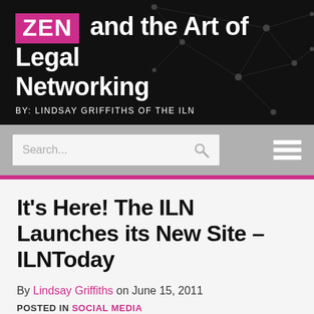ZEN and the Art of Legal Networking BY: LINDSAY GRIFFITHS OF THE ILN
[Figure (screenshot): Search bar with placeholder text 'Search...' and magnifying glass icon, and hamburger menu icon on grey navigation bar]
It’s Here! The ILN Launches its New Site – ILNToday
By Lindsay Griffiths on June 15, 2011
POSTED IN SOCIAL MEDIA